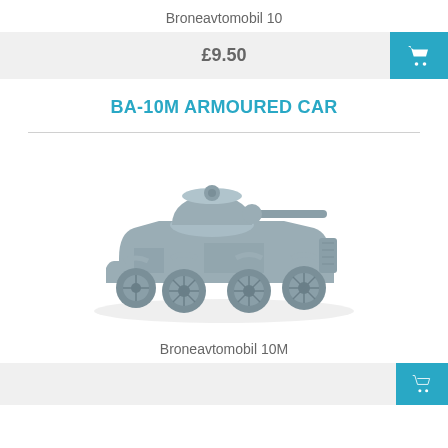Broneavtomobil 10
£9.50
BA-10M ARMOURED CAR
[Figure (photo): Grey resin or plastic scale model of a BA-10M armoured car, showing the vehicle from a front-left angle. The model features a cylindrical turret with a long barrel gun, six wheels, and detailed bodywork typical of Soviet WWII armoured cars.]
Broneavtomobil 10M